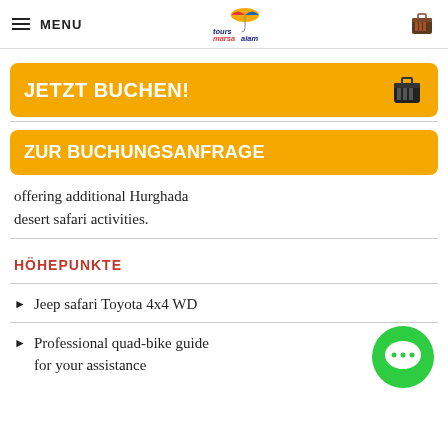MENU | tours marsa alam logo | cart icon
JETZT BUCHEN!
ZUR BUCHUNGSANFRAGE
offering additional Hurghada desert safari activities.
HÖHEPUNKTE
Jeep safari Toyota 4x4 WD
Professional quad-bike guide for your assistance